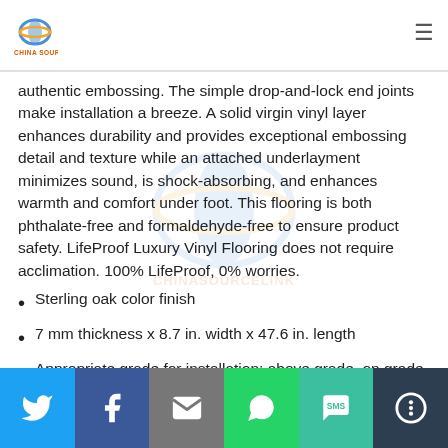China Source Link logo and navigation
authentic embossing. The simple drop-and-lock end joints make installation a breeze. A solid virgin vinyl layer enhances durability and provides exceptional embossing detail and texture while an attached underlayment minimizes sound, is shock-absorbing, and enhances warmth and comfort under foot. This flooring is both phthalate-free and formaldehyde-free to ensure product safety. LifeProof Luxury Vinyl Flooring does not require acclimation. 100% LifeProof, 0% worries.
Sterling oak color finish
7 mm thickness x 8.7 in. width x 47.6 in. length
Appropriate grade for installation: above grade, on grade or below grade
Social share bar: Twitter, Facebook, Email, WhatsApp, SMS, More